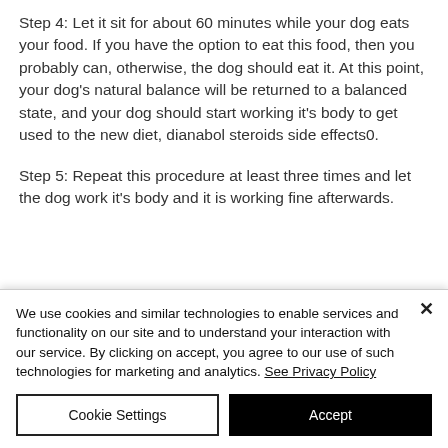Step 4: Let it sit for about 60 minutes while your dog eats your food. If you have the option to eat this food, then you probably can, otherwise, the dog should eat it. At this point, your dog's natural balance will be returned to a balanced state, and your dog should start working it's body to get used to the new diet, dianabol steroids side effects0.
Step 5: Repeat this procedure at least three times and let the dog work it's body and it is working fine afterwards.
We use cookies and similar technologies to enable services and functionality on our site and to understand your interaction with our service. By clicking on accept, you agree to our use of such technologies for marketing and analytics. See Privacy Policy